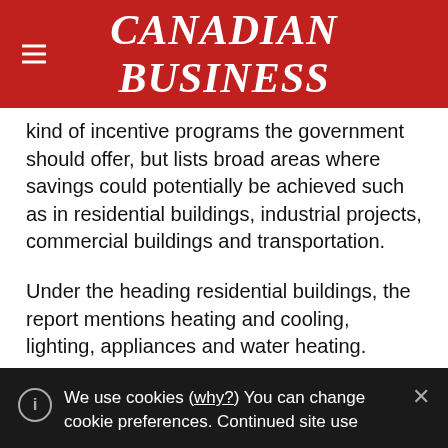CANADIAN BUSINESS
kind of incentive programs the government should offer, but lists broad areas where savings could potentially be achieved such as in residential buildings, industrial projects, commercial buildings and transportation.
Under the heading residential buildings, the report mentions heating and cooling, lighting, appliances and water heating.
“In the residential sector, what has been found is that
We use cookies (why?) You can change cookie preferences. Continued site use